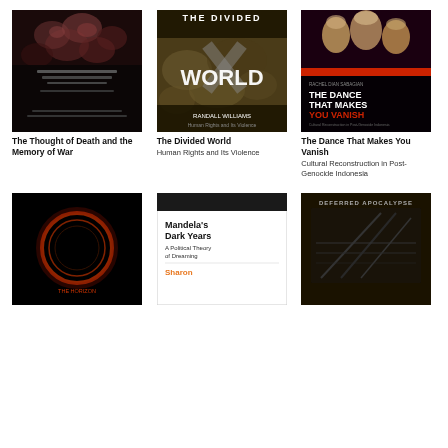[Figure (illustration): Book cover: The Thought of Death and the Memory of War — dark cover with roses]
[Figure (illustration): Book cover: The Divided World — Human Rights and Its Violence, aerial/ground photograph with title overlay]
[Figure (illustration): Book cover: The Dance That Makes You Vanish — dancers on red/black background]
The Thought of Death and the Memory of War
The Divided World
Human Rights and Its Violence
The Dance That Makes You Vanish
Cultural Reconstruction in Post-Genocide Indonesia
[Figure (illustration): Book cover: dark cover with glowing ring/circle]
[Figure (illustration): Book cover: Mandela's Dark Years — A Political Theory of Dreaming, white cover with orange author name]
[Figure (illustration): Book cover: Deferred Apocalypse — dark industrial/architectural image]